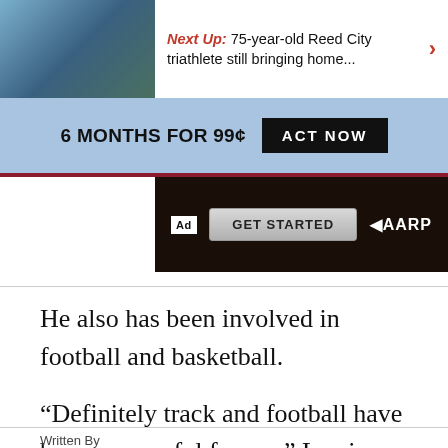Next Up: 75-year-old Reed City triathlete still bringing home...
[Figure (infographic): Subscription banner: 6 MONTHS FOR 99¢ with ACT NOW button on blue background]
[Figure (infographic): AARP advertisement bar with GET STARTED button on dark brown background]
He also has been involved in football and basketball.
“Definitely track and football have been successful for me,” Lewis said.
Written By